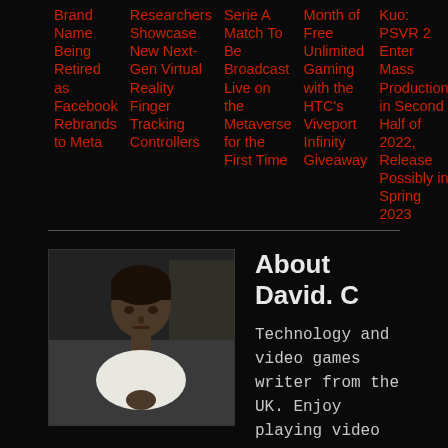Brand Name Being Retired as Facebook Rebrands to Meta
Researchers Showcase New Next-Gen Virtual Reality Finger Tracking Controllers
Serie A Match To Be Broadcast Live on the Metaverse for the First Time
Enjoy a Month of Free Unlimited Gaming with the HTC's Viveport Infinity Giveaway
Kuo: PSVR 2 Enter Mass Production in Second Half of 2022, Release Possibly in Spring 2023
About David. C
Technology and video games writer from the UK. Enjoy playing video games. Currently learning electronic audio and web design.
View all posts by David. C →
MORE SHATTERED REALITIES.COM